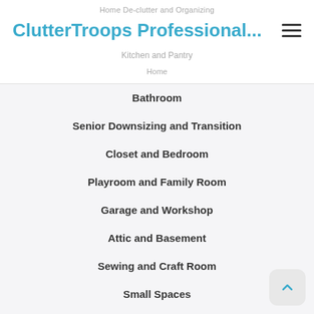Home De-clutter and Organizing / Kitchen and Pantry
ClutterTroops Professional...
Bathroom
Senior Downsizing and Transition
Closet and Bedroom
Playroom and Family Room
Garage and Workshop
Attic and Basement
Sewing and Craft Room
Small Spaces
Combined and Blended Households
Green Solutions
Senior Downsizing
Transition Solutions